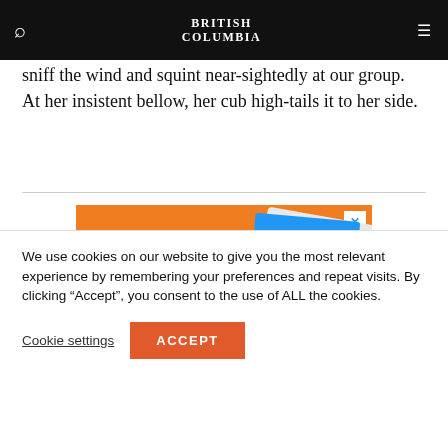BRITISH COLUMBIA
sniff the wind and squint near-sightedly at our group. At her insistent bellow, her cub high-tails it to her side.
[Figure (illustration): Advertisement banner with orange background showing text 'A DYNAMIC READ BY AWARD' in yellow/gold bold font, with a book cover illustration featuring a hot air balloon and a turtle on a blue and green background.]
We use cookies on our website to give you the most relevant experience by remembering your preferences and repeat visits. By clicking “Accept”, you consent to the use of ALL the cookies.
Cookie settings    ACCEPT